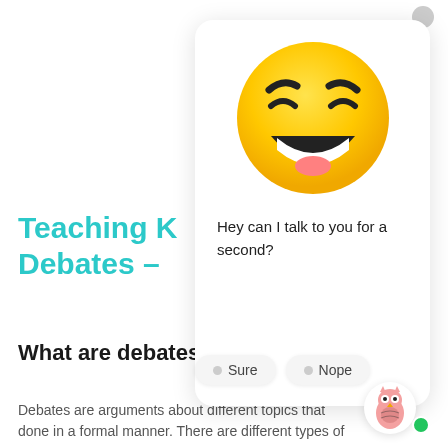Teaching K Debates –
[Figure (illustration): Grinning face emoji with wide smile and squinting eyes on a white rounded card]
Hey can I talk to you for a second?
What are debates
Debates are arguments about different topics that done in a formal manner. There are different types of